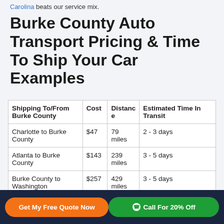Carolina beats our service mix.
Burke County Auto Transport Pricing & Time To Ship Your Car Examples
| Shipping To/From Burke County | Cost | Distance | Estimated Time In Transit |
| --- | --- | --- | --- |
| Charlotte to Burke County | $47 | 79 miles | 2 - 3 days |
| Atlanta to Burke County | $143 | 239 miles | 3 - 5 days |
| Burke County to Washington | $257 | 429 miles | 3 - 5 days |
| New York to Bu... | $304 | 858... | 3 - 5 da... |
Get My Free Quote Now | Call For 20% Off